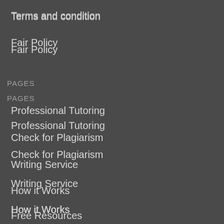Terms and condition
Fair Policy
PAGES
Professional Tutoring
Check for Plagiarism
Writing Service
How it Works
Free Resources